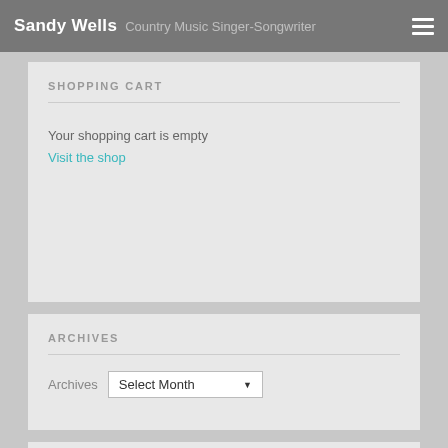Sandy Wells Country Music Singer-Songwriter
SHOPPING CART
Your shopping cart is empty
Visit the shop
ARCHIVES
Archives  Select Month
Sorry:

- Instagram feed not found.